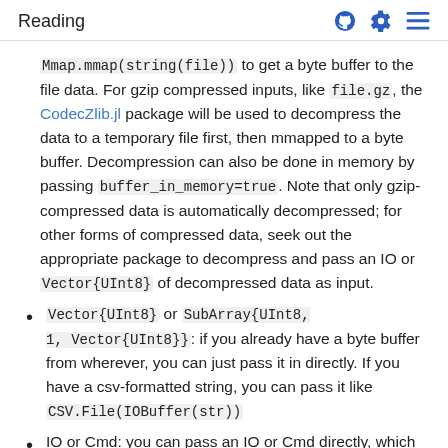Reading
Mmap.mmap(string(file)) to get a byte buffer to the file data. For gzip compressed inputs, like file.gz, the CodecZlib.jl package will be used to decompress the data to a temporary file first, then mmapped to a byte buffer. Decompression can also be done in memory by passing buffer_in_memory=true. Note that only gzip-compressed data is automatically decompressed; for other forms of compressed data, seek out the appropriate package to decompress and pass an IO or Vector{UInt8} of decompressed data as input.
Vector{UInt8} or SubArray{UInt8, 1, Vector{UInt8}}: if you already have a byte buffer from wherever, you can just pass it in directly. If you have a csv-formatted string, you can pass it like CSV.File(IOBuffer(str))
IO or Cmd: you can pass an IO or Cmd directly, which